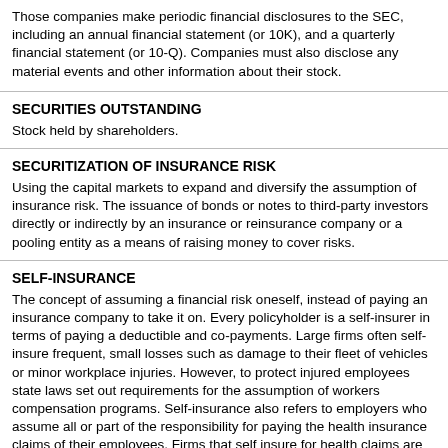Those companies make periodic financial disclosures to the SEC, including an annual financial statement (or 10K), and a quarterly financial statement (or 10-Q). Companies must also disclose any material events and other information about their stock.
SECURITIES OUTSTANDING
Stock held by shareholders.
SECURITIZATION OF INSURANCE RISK
Using the capital markets to expand and diversify the assumption of insurance risk. The issuance of bonds or notes to third-party investors directly or indirectly by an insurance or reinsurance company or a pooling entity as a means of raising money to cover risks.
SELF-INSURANCE
The concept of assuming a financial risk oneself, instead of paying an insurance company to take it on. Every policyholder is a self-insurer in terms of paying a deductible and co-payments. Large firms often self-insure frequent, small losses such as damage to their fleet of vehicles or minor workplace injuries. However, to protect injured employees state laws set out requirements for the assumption of workers compensation programs. Self-insurance also refers to employers who assume all or part of the responsibility for paying the health insurance claims of their employees. Firms that self insure for health claims are exempt from state insurance laws mandating the illnesses that group health insurers must cover.
SEVERITY
Size of a loss. One of the criteria used in calculating premiums rates.